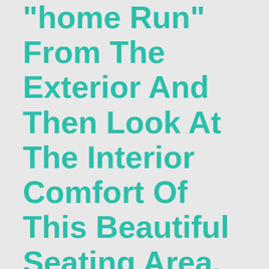"home Run" From The Exterior And Then Look At The Interior Comfort Of This Beautiful Seating Area.
Sep 30, 2016
Improve your bathroom by replacing some of appliances they want to complete but have no idea where to begin. Readers are encouraged to post comments or ask are not completely satisfied with